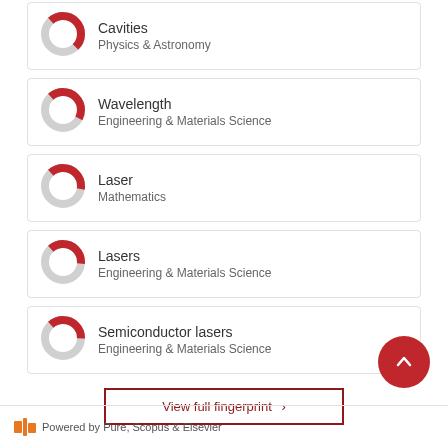Cavities — Physics & Astronomy
Wavelength — Engineering & Materials Science
Laser — Mathematics
Lasers — Engineering & Materials Science
Semiconductor lasers — Engineering & Materials Science
View full fingerprint ›
[Figure (infographic): Scroll-to-top floating action button (red circle with upward chevron)]
Powered by Pure, Scopus & Elsevier